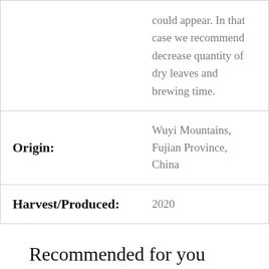|  |  |
| --- | --- |
|  | could appear. In that case we recommend decrease quantity of dry leaves and brewing time. |
| Origin: | Wuyi Mountains, Fujian Province, China |
| Harvest/Produced: | 2020 |
Recommended for you